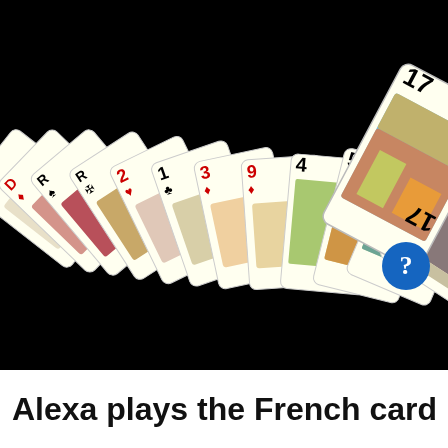[Figure (photo): A fan of French tarot playing cards spread out against a black background. Cards visible include face cards labeled D, R (with club, diamond, spade suits), numbered cards 2 (hearts), 1 (clubs), 3 (diamonds), 9 (diamonds), 4, 5, 6, 7, and tarot trumps numbered 21 and 17 with colorful illustrated scenes. A blue circular help button with a white question mark is visible in the lower-right corner of the image.]
Alexa plays the French card